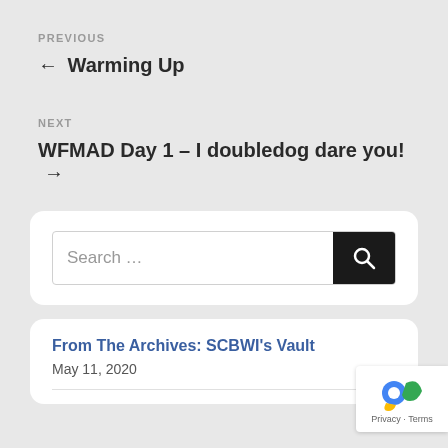PREVIOUS
← Warming Up
NEXT
WFMAD Day 1 – I doubledog dare you! →
Search …
From The Archives: SCBWI's Vault
May 11, 2020